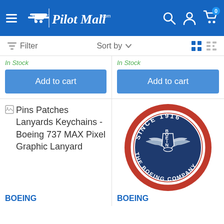Pilot Mall
Filter  Sort by
In Stock
In Stock
Add to cart
Add to cart
Pins Patches Lanyards Keychains - Boeing 737 MAX Pixel Graphic Lanyard
[Figure (photo): Boeing embroidered patch - circular patch with 'SINCE 1916' at top and 'THE BOEING COMPANY' at bottom on red border, Boeing logo with wings in center on navy blue background]
BOEING
BOEING